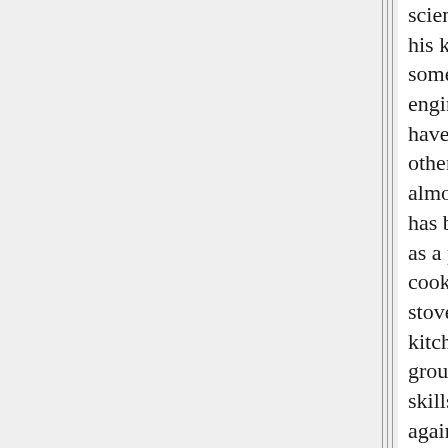science behind a lot of his knowledge, being somewhat of an engineering mind. As I have mentioned in other posts, he can do almost anything that has been set before him as a problem. From cooking to fixing the stove, to rebuilding the kitchen from the ground up. he has the skills to build the house again if need be. Electrical and plumbing and foundation work and sewing new